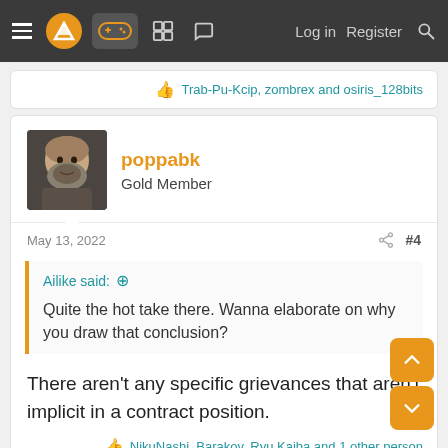Navigation bar with menu, logo, gamepad icon, grid icon, chat icon, Log in, Register, Search
👍 Trab-Pu-Kcip, zombrex and osiris_128bits
poppabk
Gold Member
May 13, 2022   #4
Ailike said: ↑
Quite the hot take there. Wanna elaborate on why you draw that conclusion?
There aren't any specific grievances that aren't implicit in a contract position.
👍 NikuNashi, Barakov, Ryu Kaiba and 1 other person